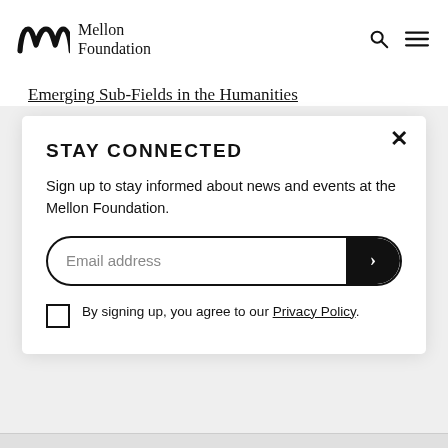[Figure (logo): Mellon Foundation logo with stylized 'm' mark and text 'Mellon Foundation']
Emerging Sub-Fields in the Humanities
11/14/05
$23,200
STAY CONNECTED
Sign up to stay informed about news and events at the Mellon Foundation.
Email address
By signing up, you agree to our Privacy Policy.